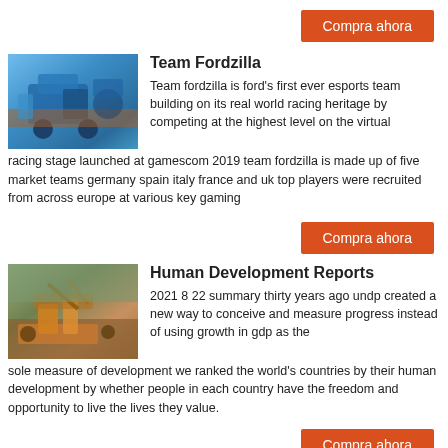Compra ahora
[Figure (photo): Blue industrial machine/crusher on an outdoor site]
Team Fordzilla
Team fordzilla is ford’s first ever esports team building on its real world racing heritage by competing at the highest level on the virtual racing stage launched at gamescom 2019 team fordzilla is made up of five market teams germany spain italy france and uk top players were recruited from across europe at various key gaming
Compra ahora
[Figure (photo): Orange and yellow heavy machinery at an excavation/mining site]
Human Development Reports
2021 8 22 summary thirty years ago undp created a new way to conceive and measure progress instead of using growth in gdp as the sole measure of development we ranked the world’s countries by their human development by whether people in each country have the freedom and opportunity to live the lives they value.
Compra ahora